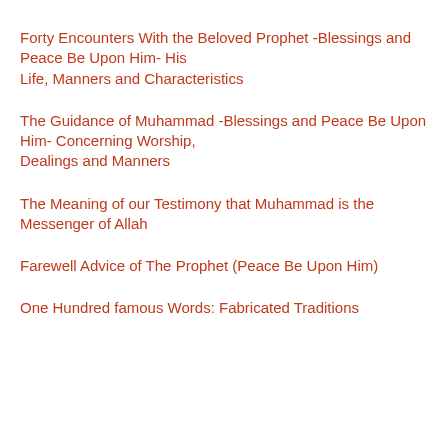Forty Encounters With the Beloved Prophet -Blessings and Peace Be Upon Him- His Life, Manners and Characteristics
The Guidance of Muhammad -Blessings and Peace Be Upon Him- Concerning Worship, Dealings and Manners
The Meaning of our Testimony that Muhammad is the Messenger of Allah
Farewell Advice of The Prophet (Peace Be Upon Him)
One Hundred famous Words: Fabricated Traditions